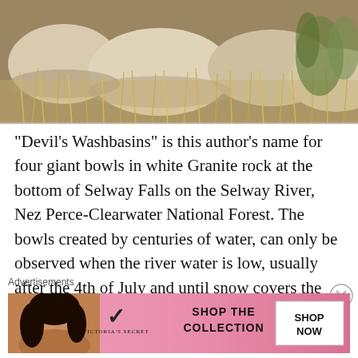[Figure (photo): Outdoor nature photo showing large white granite rocks surrounded by dry golden grass and some green foliage, a river or waterfall scene]
“Devil’s Washbasins” is this author’s name for four giant bowls in white Granite rock at the bottom of Selway Falls on the Selway River, Nez Perce-Clearwater National Forest. The bowls created by centuries of water, can only be observed when the river water is low, usually after the 4th of July and until snow covers the forest. Observe the calm pool at the top of the falls. Enjoy the water’s music
Advertisements
[Figure (photo): Victoria's Secret advertisement banner showing a model, the VS logo, text SHOP THE COLLECTION, and a SHOP NOW button]